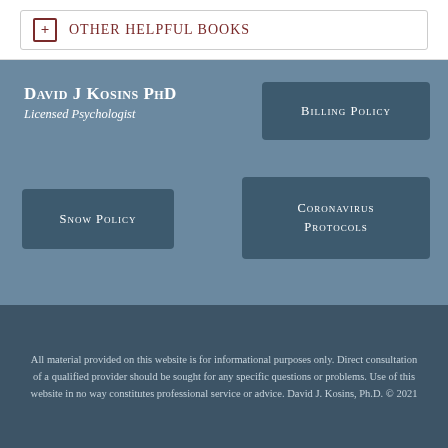Other Helpful Books
David J Kosins PhD
Licensed Psychologist
Billing Policy
Snow Policy
Coronavirus Protocols
All material provided on this website is for informational purposes only. Direct consultation of a qualified provider should be sought for any specific questions or problems. Use of this website in no way constitutes professional service or advice. David J. Kosins, Ph.D. © 2021